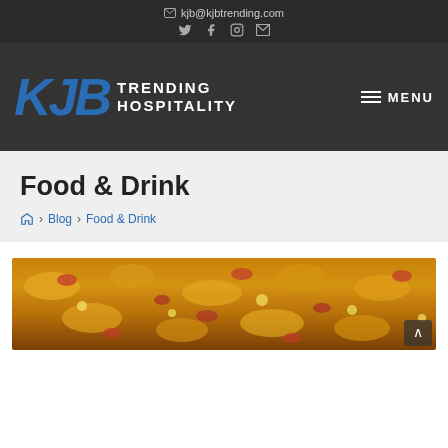kjb@kjbtrending.com
[Figure (logo): KJB Trending Hospitality logo with blue bold italic KJB text and white TRENDING HOSPITALITY text, on dark background with hamburger MENU button]
Food & Drink
Home > Blog > Food & Drink
[Figure (photo): Close-up photo of a pizza with melted cheese, tomato sauce, and toppings]